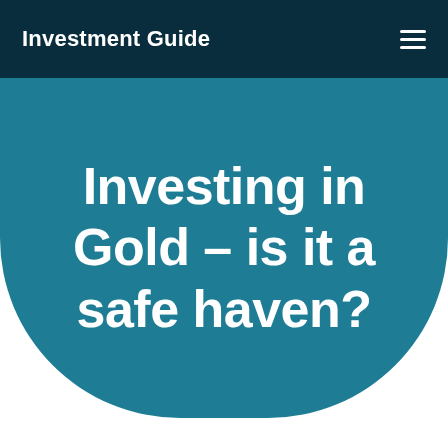Investment Guide
Investing in Gold – is it a safe haven?